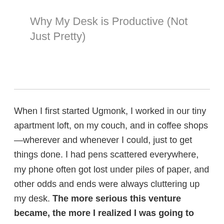Why My Desk is Productive (Not Just Pretty)
When I first started Ugmonk, I worked in our tiny apartment loft, on my couch, and in coffee shops—wherever and whenever I could, just to get things done. I had pens scattered everywhere, my phone often got lost under piles of paper, and other odds and ends were always cluttering up my desk. The more serious this venture became, the more I realized I was going to need more than just a cobbled-together work surface to focus